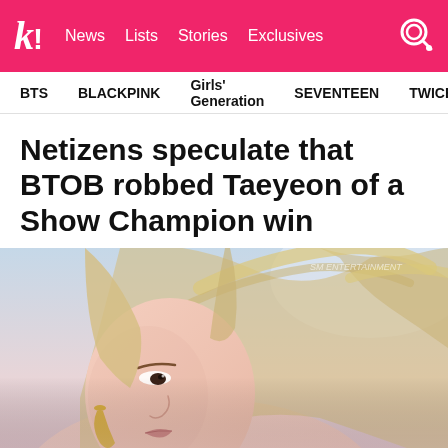k! News Lists Stories Exclusives
BTS  BLACKPINK  Girls' Generation  SEVENTEEN  TWICE
Netizens speculate that BTOB robbed Taeyeon of a Show Champion win
[Figure (photo): Close-up photo of Taeyeon (K-pop singer) with blonde wavy hair blowing in wind, wearing a gold earring, soft blurred pastel background with SM Entertainment watermark]